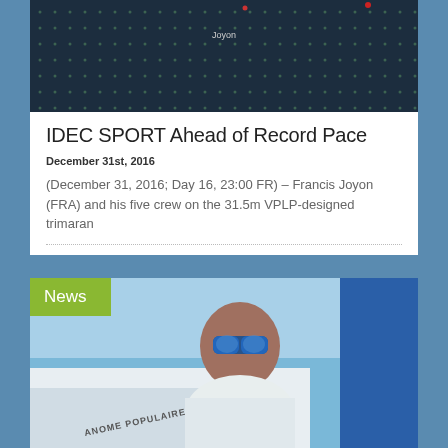[Figure (screenshot): Dark maritime tracking map with dotted lines and label 'Joyon' showing boat position]
IDEC SPORT Ahead of Record Pace
December 31st, 2016
(December 31, 2016; Day 16, 23:00 FR) – Francis Joyon (FRA) and his five crew on the 31.5m VPLP-designed trimaran
[Figure (photo): Photo of a sailor wearing blue mirrored sunglasses and white sailing gear on a boat, with 'News' badge overlay and partial boat text 'ANOME POPULAIRE' visible]